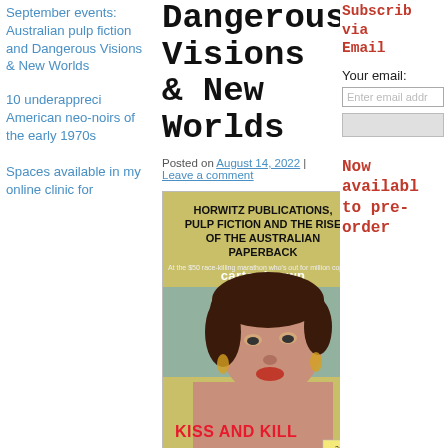September events: Australian pulp fiction and Dangerous Visions & New Worlds
10 underappreciated American neo-noirs of the early 1970s
Spaces available in my online clinic for
Dangerous Visions & New Worlds
Posted on August 14, 2022 | Leave a comment
[Figure (photo): Book cover: 'Horwitz Publications, Pulp Fiction and the Rise of the Australian Paperback' featuring a Carter Brown 'Kiss and Kill' pulp novel cover with a woman in 1950s illustration style on a yellow-green background]
Subscribe via Email
Your email:
Now available to pre-order